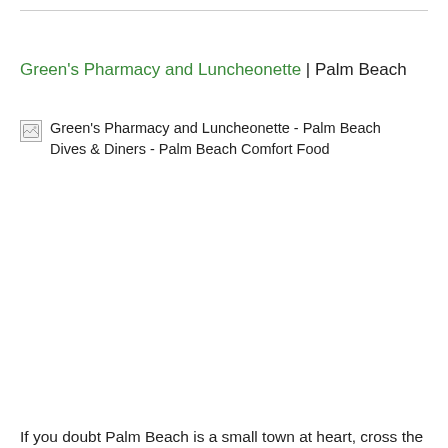Green's Pharmacy and Luncheonette | Palm Beach
[Figure (photo): Broken image placeholder with alt text: Green's Pharmacy and Luncheonette - Palm Beach Dives & Diners - Palm Beach Comfort Food]
If you doubt Palm Beach is a small town at heart, cross the